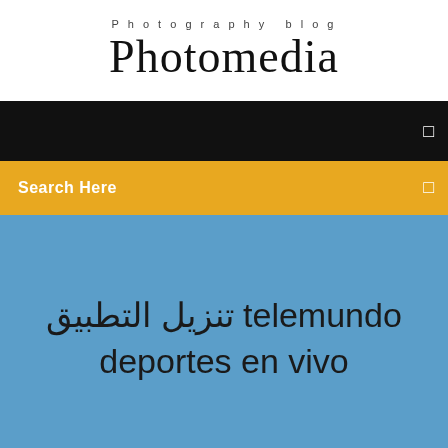Photography blog
Photomedia
[Figure (screenshot): Black navigation bar with a small white square icon on the right]
Search Here
تنزيل التطبيق telemundo deportes en vivo